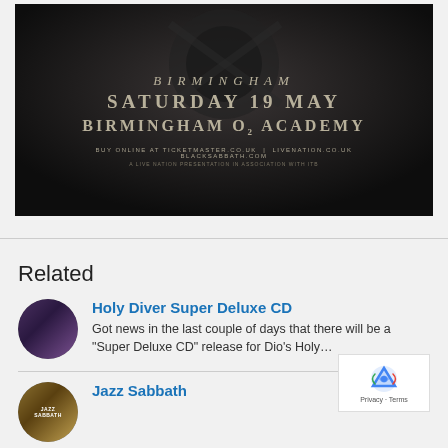[Figure (photo): Concert poster on dark background showing text: BIRMINGHAM, SATURDAY 19 MAY, BIRMINGHAM O2 ACADEMY. Buy online at ticketmaster.co.uk | livenation.co.uk blacksabbath.com. A Live Nation presentation in association with ITB.]
Related
[Figure (photo): Circular thumbnail image for Holy Diver Super Deluxe CD article]
Holy Diver Super Deluxe CD
Got news in the last couple of days that there will be a "Super Deluxe CD" release for Dio's Holy...
[Figure (photo): Circular thumbnail image for Jazz Sabbath article]
Jazz Sabbath